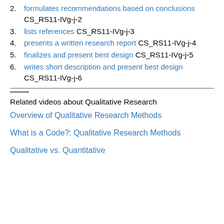2. formulates recommendations based on conclusions CS_RS11-IVg-j-2
3. lists references CS_RS11-IVg-j-3
4. presents a written research report CS_RS11-IVg-j-4
5. finalizes and present best design CS_RS11-IVg-j-5
6. writes short description and present best design CS_RS11-IVg-j-6
Related videos about Qualitative Research
Overview of Qualitative Research Methods
What is a Code?: Qualitative Research Methods
Qualitative vs. Quantitative